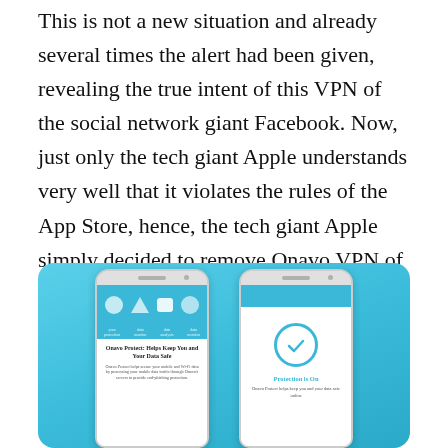This is not a new situation and already several times the alert had been given, revealing the true intent of this VPN of the social network giant Facebook. Now, just only the tech giant Apple understands very well that it violates the rules of the App Store, hence, the tech giant Apple simply decided to remove Onavo VPN of the social network giant Facebook from its app store.
[Figure (screenshot): Two smartphone screenshots of the Onavo Protect app on a blue background. Left phone shows the app's main screen with icons and text 'Onavo Protect: Helps Keep You and Your Data Safe'. Right phone shows a 'Protection is On' screen with a green checkmark circle and text 'Onavo Protect helps keep you and your data safe online'.]